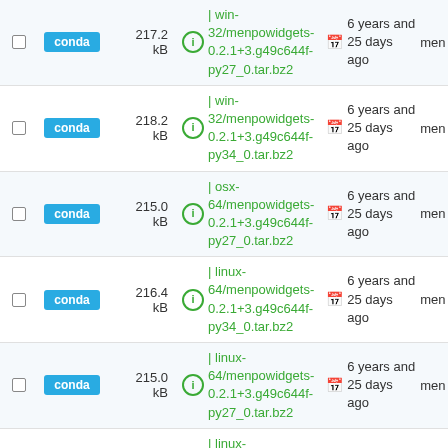|  | type | size | filename | date | user |
| --- | --- | --- | --- | --- | --- |
|  | conda | 217.2 kB | ℹ | win-32/menpowidgets-0.2.1+3.g49c644f-py27_0.tar.bz2 | 6 years and 25 days ago | men |
|  | conda | 218.2 kB | ℹ | win-32/menpowidgets-0.2.1+3.g49c644f-py34_0.tar.bz2 | 6 years and 25 days ago | men |
|  | conda | 215.0 kB | ℹ | osx-64/menpowidgets-0.2.1+3.g49c644f-py27_0.tar.bz2 | 6 years and 25 days ago | men |
|  | conda | 216.4 kB | ℹ | linux-64/menpowidgets-0.2.1+3.g49c644f-py34_0.tar.bz2 | 6 years and 25 days ago | men |
|  | conda | 215.0 kB | ℹ | linux-64/menpowidgets-0.2.1+3.g49c644f-py27_0.tar.bz2 | 6 years and 25 days ago | men |
|  | conda | 215.4 kB | ℹ | linux-64/menpowidgets-0.2.1+3.g49c644f-py35_0.tar.bz2 | 6 years and 25 days ago | men |